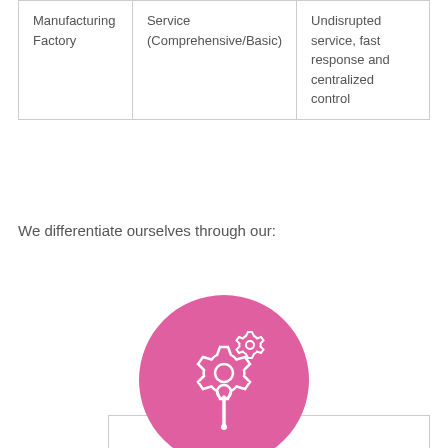| Manufacturing Factory | Service
(Comprehensive/Basic) | Undisrupted service, fast response and centralized control |
We differentiate ourselves through our:
[Figure (illustration): Pink circle icon with white gears and wrench/tool illustration inside, above a partially visible card/box]